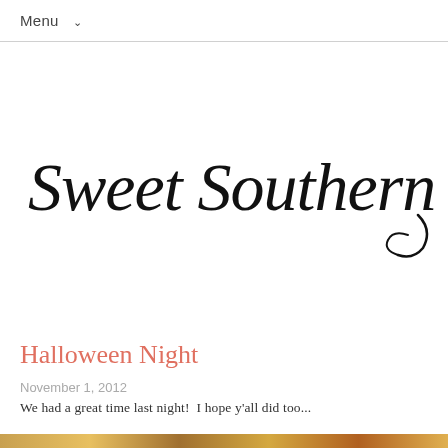Menu ∨
Sweet Southern Prep
Halloween Night
November 1, 2012
We had a great time last night!  I hope y'all did too...